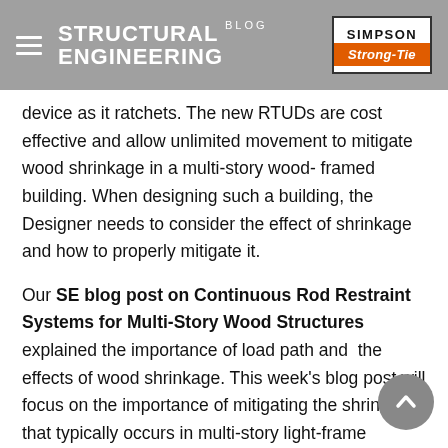STRUCTURAL ENGINEERING BLOG — Simpson Strong-Tie
device as it ratchets. The new RTUDs are cost effective and allow unlimited movement to mitigate wood shrinkage in a multi-story wood- framed building. When designing such a building, the Designer needs to consider the effect of shrinkage and how to properly mitigate it.
Our SE blog post on Continuous Rod Restraint Systems for Multi-Story Wood Structures explained the importance of load path and the effects of wood shrinkage. This week's blog post will focus on the importance of mitigating the shrinkage that typically occurs in multi-story light-frame buildings.